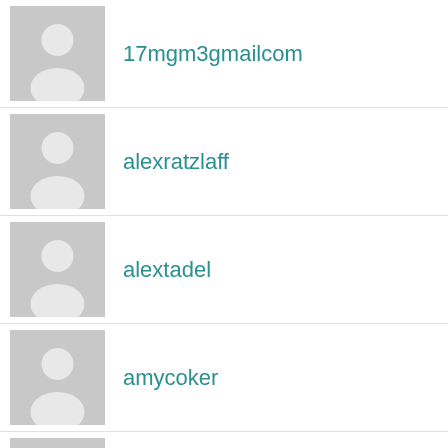17mgm3gmailcom
alexratzlaff
alextadel
amycoker
amylather
admin
bc4503